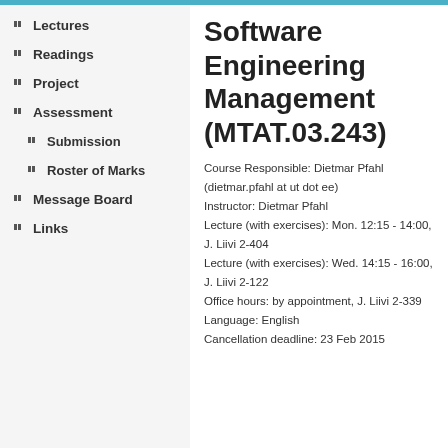Lectures
Readings
Project
Assessment
Submission
Roster of Marks
Message Board
Links
Software Engineering Management (MTAT.03.243)
Course Responsible: Dietmar Pfahl (dietmar.pfahl at ut dot ee)
Instructor: Dietmar Pfahl
Lecture (with exercises): Mon. 12:15 - 14:00, J. Liivi 2-404
Lecture (with exercises): Wed. 14:15 - 16:00, J. Liivi 2-122
Office hours: by appointment, J. Liivi 2-339
Language: English
Cancellation deadline: 23 Feb 2015